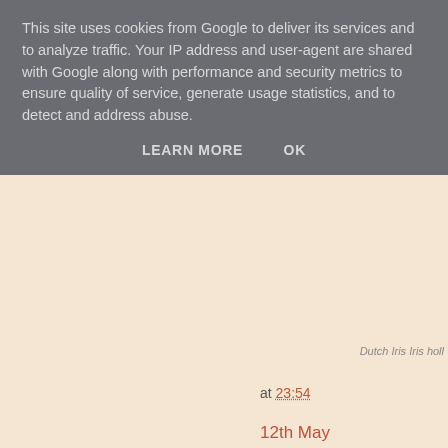This site uses cookies from Google to deliver its services and to analyze traffic. Your IP address and user-agent are shared with Google along with performance and security metrics to ensure quality of service, generate usage statistics, and to detect and address abuse.
LEARN MORE   OK
Dutch Iris Iris holl
at 23:54
12th May
A very small arrival of migrants this mo... Garden Warblers and a Spotted Flyc... Hobby, 63 Swallows and two Corn Bu... The sea was very quiet with just 36 Wh... note.
Nine Porpoises and a Grey Seal were... seen on the land.